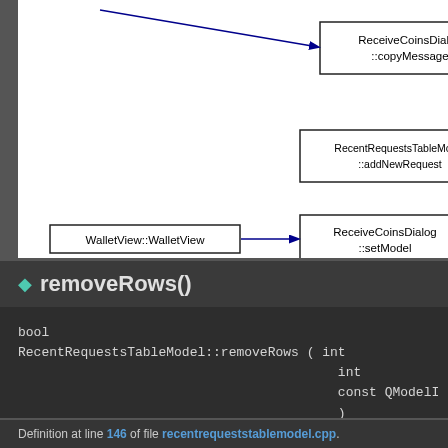[Figure (flowchart): Caller/callee diagram showing WalletView::WalletView calling ReceiveCoinsDialog::setModel, and arrows to ReceiveCoinsDialog::copyMessage and RecentRequestsTableModel::addNewRequest]
◆ removeRows()
bool
RecentRequestsTableModel::removeRows ( int
                                         int
                                         const QModelI
                                         )
Definition at line 146 of file recentrequeststablemodel.cpp.